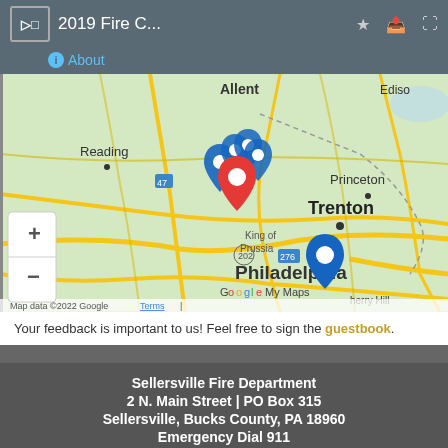[Figure (screenshot): Google My Maps screenshot showing '2019 Fire C...' map with location pins around Allentown, Philadelphia, Trenton, Reading, King of Prussia area. Map header shows title, star, share, and fullscreen icons, plus an About link. Zoom controls visible. Map data ©2022 Google with Terms link.]
Your feedback is important to us!  Feel free to sign the guestbook.
Sellersville Fire Department
2 N. Main Street | PO Box 315
Sellersville, Bucks County, PA 18960
Emergency Dial 911
Business: 215.257.4028
E-mail: admin@sellersvillefd.com